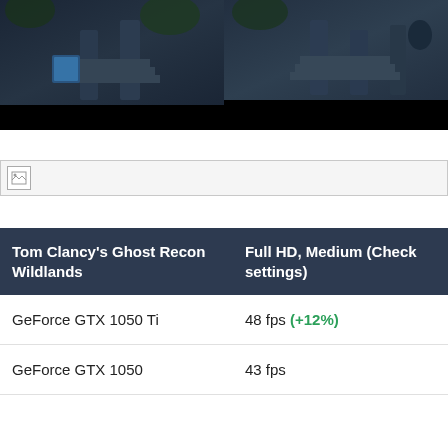[Figure (screenshot): Two side-by-side game screenshots from a dark fantasy scene with ruins, steps, blue glowing elements, and a black lower region. Left screenshot is slightly smaller, right screenshot extends to the right edge.]
[Figure (other): Broken image placeholder icon with a small image icon in the top-left corner, horizontal bar with a border.]
| Tom Clancy's Ghost Recon Wildlands | Full HD, Medium (Chec settings) |
| --- | --- |
| GeForce GTX 1050 Ti | 48 fps (+12%) |
| GeForce GTX 1050 | 43 fps |